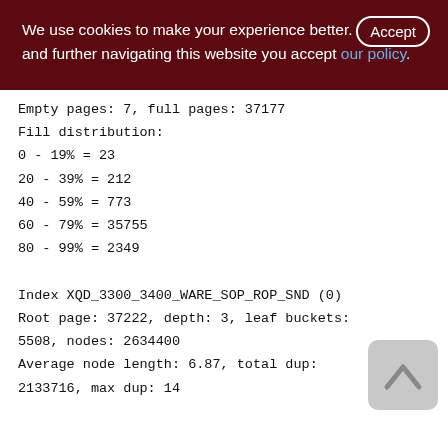We use cookies to make your experience better. By accepting and further navigating this website you accept our policy.
Empty pages: 7, full pages: 37177
Fill distribution:
0 - 19% = 23
20 - 39% = 212
40 - 59% = 773
60 - 79% = 35755
80 - 99% = 2349

Index XQD_3300_3400_WARE_SOP_ROP_SND (0)
Root page: 37222, depth: 3, leaf buckets: 5508, nodes: 2634400
Average node length: 6.87, total dup: 2133716, max dup: 14